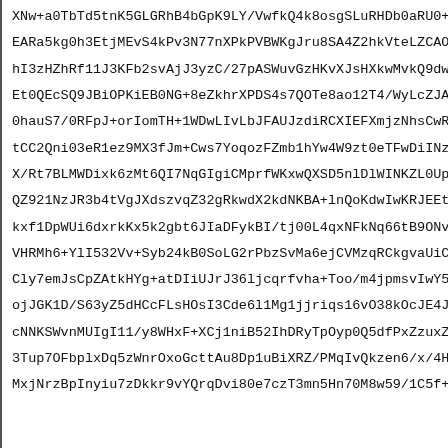XNw+a0TbTd5tnK5GLGRhB4bGpK9LY/VwfkQ4k8osgSLuRHDb0aRU0+b
EARa5kg0h3EtjMEvS4kPv3N77nXPkPVBWKgJru8SA4Z2hkVteLZCAOx
hI3zHZhRf11J3KFb2svAjJ3yzC/27pASWuvGzHKvXJsHXkwMvkQ9dw5
Et0QEcSQ9JBiOPKiEB0NG+8eZkhrXPDS4s7QOTe8ao12T4/WyLcZJAJ
0hauS7/0RFpJ+orIomTH+1WDwLIvLbJFAUJzdiRCXIEFXmjzNhsCwR1
tCC2Qni03eR1ez9MX3fJm+Cws7YoqozFZmb1hYw4W9zt0eTFwDiINzQ
X/Rt7BLMWDixk6zMt6QI7NqGIgiCMprfWKxwQXSD5nlDlWINKZL0Up5
QZ921NzJR3b4tVgJXdszvqZ32gRkwdX2kdNKBA+lnQoKdwIwKRJEEt+
kxf1DpWUi6dxrkKx5k2gbt6JIaDFykBI/tj00L4qxNFkNq66tB9ONv3
VHRMh6+YlI532Vv+Syb24kB0SoLG2rPbzSvMa6ejCVMzqRCkgvaUiCs
Cly7emJsCpZAtkHYg+atDIiUJrJ36ljcqrfvha+Too/m4jpmsvIwY5A
ojJGK1D/S63yZ5dHCcFLsHOsI3Cde6l1Mg1jjriqs16vO38kOcJE4JN
cNNKSWvnMUIgI11/y8WHxF+XCj1niB52IhDRyTpOyp0Q5dfPxZzuxZy
3Tup7OFbplxDq5zWnrOxoGcttAu8Dp1uBiXRZ/PMqIvQkzen6/x/4HY
MxjNrzBpInyiu7zDkkr9vYQrqDvi80e7czT3mn5Hn70M8w59/1C5f+1